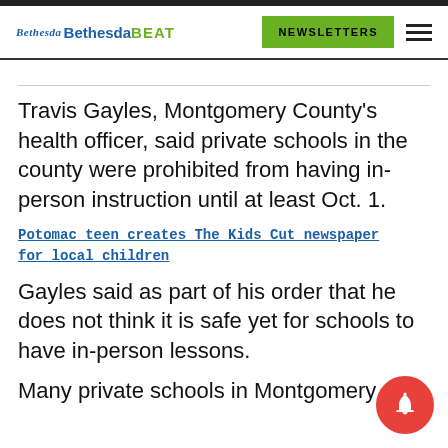Bethesda Bethesda BEAT | NEWSLETTERS
Travis Gayles, Montgomery County's health officer, said private schools in the county were prohibited from having in-person instruction until at least Oct. 1.
Potomac teen creates The Kids Cut newspaper for local children
Gayles said as part of his order that he does not think it is safe yet for schools to have in-person lessons.
Many private schools in Montgomery